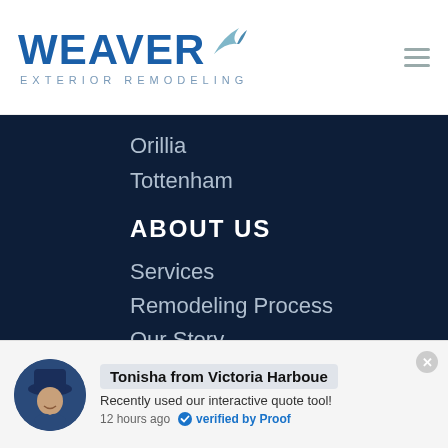[Figure (logo): Weaver Exterior Remodeling logo with blue bird icon and bold blue WEAVER text]
Orillia
Tottenham
ABOUT US
Services
Remodeling Process
Our Story
Careers
Blog
Tonisha from Victoria Harboue
Recently used our interactive quote tool!
12 hours ago  verified by Proof